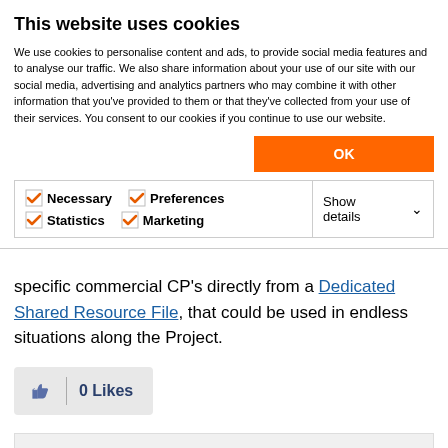This website uses cookies
We use cookies to personalise content and ads, to provide social media features and to analyse our traffic. We also share information about your use of our site with our social media, advertising and analytics partners who may combine it with other information that you've provided to them or that they've collected from your use of their services. You consent to our cookies if you continue to use our website.
OK
Necessary  Preferences  Statistics  Marketing  Show details
specific commercial CP's directly from a Dedicated Shared Resource File, that could be used in endless situations along the Project.
0 Likes
Share
Reply